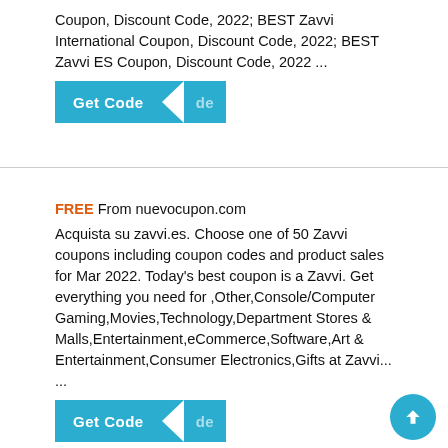Coupon, Discount Code, 2022; BEST Zavvi International Coupon, Discount Code, 2022; BEST Zavvi ES Coupon, Discount Code, 2022 ...
[Figure (other): Get Code button with arrow and revealed code portion]
FREE From nuevocupon.com
Acquista su zavvi.es. Choose one of 50 Zavvi coupons including coupon codes and product sales for Mar 2022. Today's best coupon is a Zavvi. Get everything you need for ,Other,Console/Computer Gaming,Movies,Technology,Department Stores & Malls,Entertainment,eCommerce,Software,Art & Entertainment,Consumer Electronics,Gifts at Zavvi... ...
[Figure (other): Get Code button with arrow and revealed code portion]